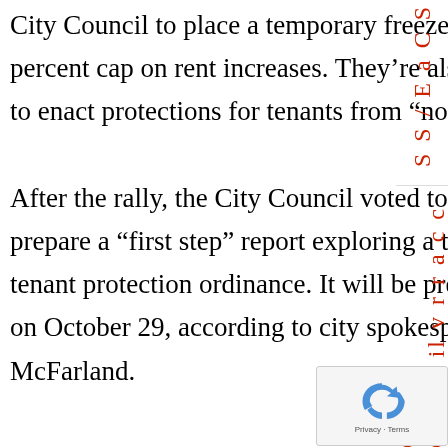City Council to place a temporary freeze on evictions and a 3 percent cap on rent increases. They're also urging the council to enact protections for tenants from “no-fault” evictions.
After the rally, the City Council voted to direct city staffers to prepare a “first step” report exploring a temporary interim tenant protection ordinance. It will be presented to the council on October 29, according to city spokesperson Simone McFarland.